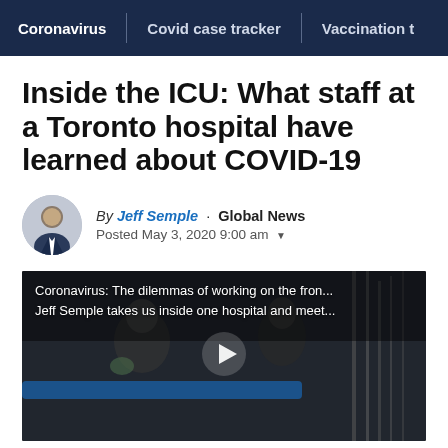Coronavirus | Covid case tracker | Vaccination t
Inside the ICU: What staff at a Toronto hospital have learned about COVID-19
By Jeff Semple · Global News
Posted May 3, 2020 9:00 am
[Figure (screenshot): Video thumbnail showing hospital ICU scene with overlay text: 'Coronavirus: The dilemmas of working on the fron... Jeff Semple takes us inside one hospital and meet...' with a play button in the center]